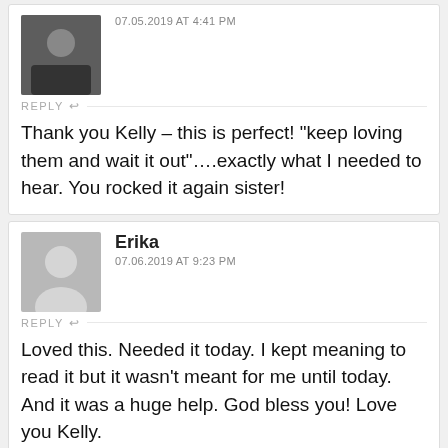07.05.2019 AT 4:41 PM
REPLY
Thank you Kelly – this is perfect! "keep loving them and wait it out"….exactly what I needed to hear. You rocked it again sister!
Erika
07.06.2019 AT 9:23 PM
REPLY
Loved this. Needed it today. I kept meaning to read it but it wasn't meant for me until today. And it was a huge help. God bless you! Love you Kelly.
Robert Back...